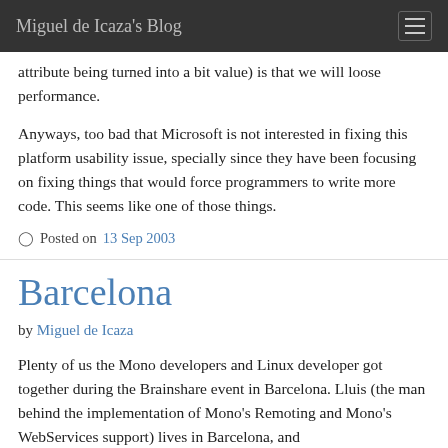Miguel de Icaza's Blog
attribute being turned into a bit value) is that we will loose performance.
Anyways, too bad that Microsoft is not interested in fixing this platform usability issue, specially since they have been focusing on fixing things that would force programmers to write more code. This seems like one of those things.
Posted on 13 Sep 2003
Barcelona
by Miguel de Icaza
Plenty of us the Mono developers and Linux developer got together during the Brainshare event in Barcelona. Lluis (the man behind the implementation of Mono's Remoting and Mono's WebServices support) lives in Barcelona, and